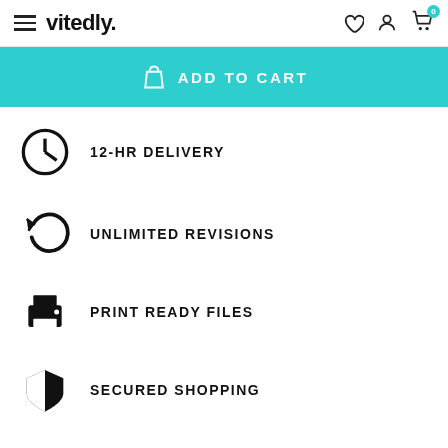vitedly.
ADD TO CART
12-HR DELIVERY
UNLIMITED REVISIONS
PRINT READY FILES
SECURED SHOPPING